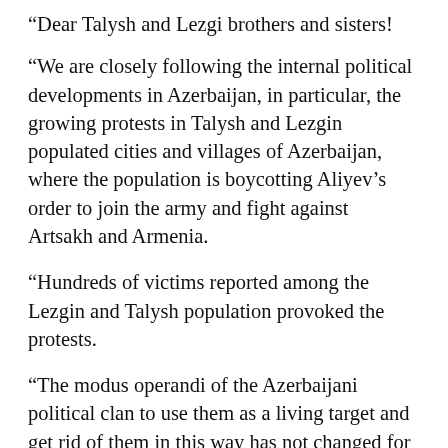“Dear Talysh and Lezgi brothers and sisters!
“We are closely following the internal political developments in Azerbaijan, in particular, the growing protests in Talysh and Lezgin populated cities and villages of Azerbaijan, where the population is boycotting Aliyev’s order to join the army and fight against Artsakh and Armenia.
“Hundreds of victims reported among the Lezgin and Talysh population provoked the protests.
“The modus operandi of the Azerbaijani political clan to use them as a living target and get rid of them in this way has not changed for decades.
“We value the deep understanding of our cause by the native people of Azerbaijan, the Talysh and Lezgins, as well as your constant manifestation of